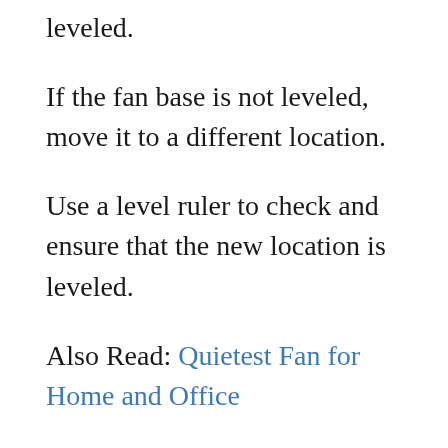leveled.
If the fan base is not leveled, move it to a different location.
Use a level ruler to check and ensure that the new location is leveled.
Also Read: Quietest Fan for Home and Office
3. Put A Soundproofing Material Under